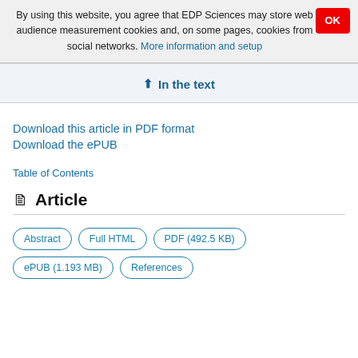By using this website, you agree that EDP Sciences may store web audience measurement cookies and, on some pages, cookies from social networks. More information and setup
↑ In the text
Download this article in PDF format
Download the ePUB
Table of Contents
Article
Abstract
Full HTML
PDF (492.5 KB)
ePUB (1.193 MB)
References